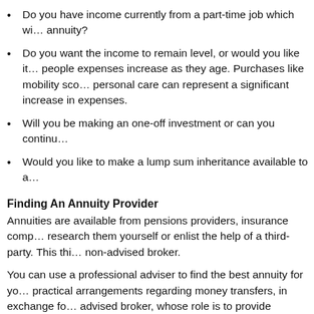Do you have income currently from a part-time job which will cease, meaning you will need more from your annuity?
Do you want the income to remain level, or would you like it to increase? Many people expenses increase as they age. Purchases like mobility scooters and personal care can represent a significant increase in expenses.
Will you be making an one-off investment or can you continue to make investments?
Would you like to make a lump sum inheritance available to a beneficiary?
Finding An Annuity Provider
Annuities are available from pensions providers, insurance companies and banks. You can research them yourself or enlist the help of a third-party. This third-party could be an advised or non-advised broker.
You can use a professional adviser to find the best annuity for your circumstances and handle practical arrangements regarding money transfers, in exchange for a fee. Alternatively, use an advised broker, whose role is to provide information rather than offer advice, meaning you are required to conduct much of the research and compare your annuities yourself.
Allow yourself plenty of time to research your options and make your decision.
You can begin your preparations around five months before your retirement. You will be sent the information you need by your pension provider. If you have not heard from them a month prior to your retirement, it is important you chase them for this information.